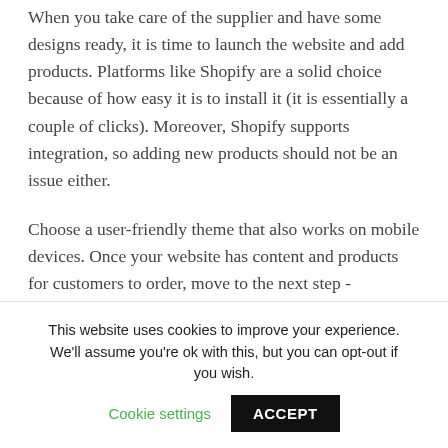When you take care of the supplier and have some designs ready, it is time to launch the website and add products. Platforms like Shopify are a solid choice because of how easy it is to install it (it is essentially a couple of clicks). Moreover, Shopify supports integration, so adding new products should not be an issue either.
Choose a user-friendly theme that also works on mobile devices. Once your website has content and products for customers to order, move to the next step - promoting the business.
This website uses cookies to improve your experience. We'll assume you're ok with this, but you can opt-out if you wish. Cookie settings ACCEPT